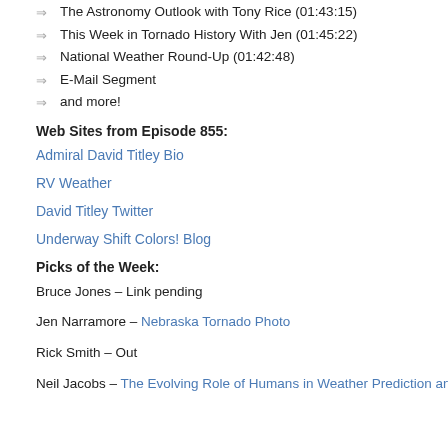The Astronomy Outlook with Tony Rice (01:43:15)
This Week in Tornado History With Jen (01:45:22)
National Weather Round-Up (01:42:48)
E-Mail Segment
and more!
Web Sites from Episode 855:
Admiral David Titley Bio
RV Weather
David Titley Twitter
Underway Shift Colors! Blog
Picks of the Week:
Bruce Jones – Link pending
Jen Narramore – Nebraska Tornado Photo
Rick Smith – Out
Neil Jacobs – The Evolving Role of Humans in Weather Prediction and Commu